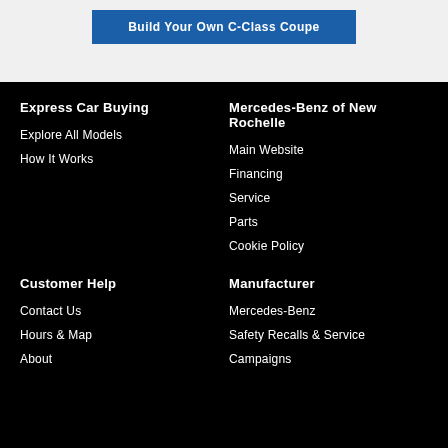Build Your Own C-Class Coupe
Express Car Buying
Explore All Models
How It Works
Mercedes-Benz of New Rochelle
Main Website
Financing
Service
Parts
Cookie Policy
Customer Help
Contact Us
Hours & Map
About
Manufacturer
Mercedes-Benz
Safety Recalls & Service Campaigns